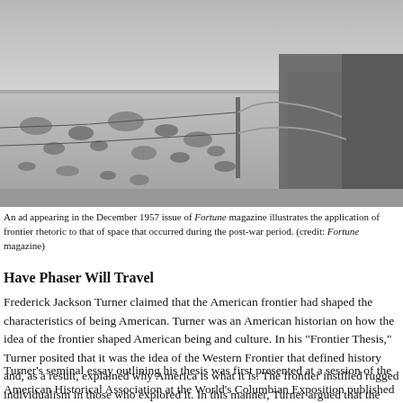[Figure (photo): Black and white illustration/photograph showing a wide open frontier landscape with scattered shrubs or bushes across flat terrain, and a figure on the right side near what appears to be a fence post with wire, suggesting a Western frontier setting.]
An ad appearing in the December 1957 issue of Fortune magazine illustrates the application of frontier rhetoric to that of space that occurred during the post-war period. (credit: Fortune magazine)
Have Phaser Will Travel
Frederick Jackson Turner claimed that the American frontier had shaped the characteristics of being American. Turner was an American historian on how the idea of the frontier shaped American being and culture. In his "Frontier Thesis," Turner posited that it was the idea of the Western Frontier that defined history and, as a result, explained why America is what it is. The frontier instilled rugged individualism in those who explored it. In this manner, Turner argued that the continual westward push "with its new opportunities, its continuous touch with the simplicity of primitive society, furnished the forces dominating American character."
Turner's seminal essay outlining his thesis was first presented at a session of the American Historical Association at the World's Columbian Exposition in 1893 and published later that same year. Well regarded for many years, Turner